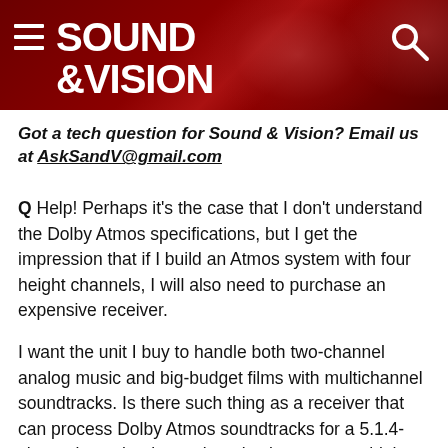SOUND & VISION
Got a tech question for Sound & Vision? Email us at AskSandV@gmail.com
Q Help! Perhaps it's the case that I don't understand the Dolby Atmos specifications, but I get the impression that if I build an Atmos system with four height channels, I will also need to purchase an expensive receiver.
I want the unit I buy to handle both two-channel analog music and big-budget films with multichannel soundtracks. Is there such thing as a receiver that can process Dolby Atmos soundtracks for a 5.1.4-channel speaker layout but also let me use a high-